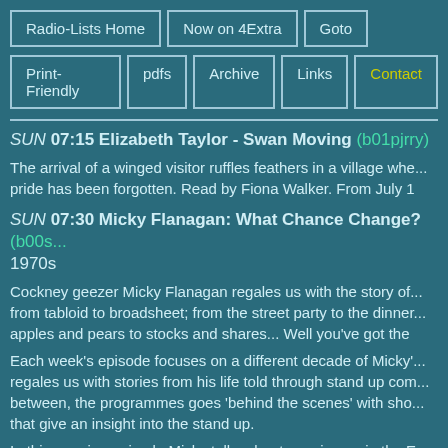Radio-Lists Home | Now on 4Extra | Goto | Print-Friendly | pdfs | Archive | Links | Contact
SUN 07:15 Elizabeth Taylor - Swan Moving (b01pjrry)
The arrival of a winged visitor ruffles feathers in a village whe... pride has been forgotten. Read by Fiona Walker. From July 1
SUN 07:30 Micky Flanagan: What Chance Change? (b00s... 1970s
Cockney geezer Micky Flanagan regales us with the story of ... from tabloid to broadsheet; from the street party to the dinner... apples and pears to stocks and shares... Well you've got the
Each week's episode focuses on a different decade of Micky'... regales us with stories from his life told through stand up com... between, the programmes goes 'behind the scenes' with sho... that give an insight into the stand up.
In this opening episode Micky talks about growing up in the E...